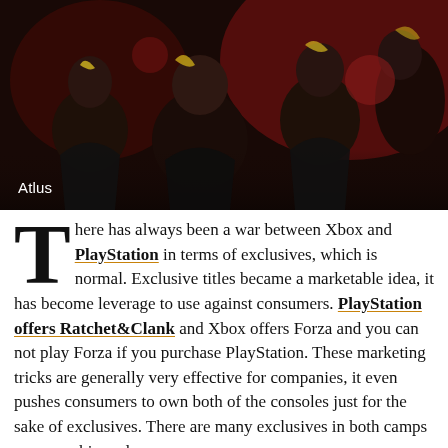[Figure (illustration): Dark anime-style illustration featuring multiple characters in dark clothing with red and yellow accents against a dark background. Caption 'Atlus' appears in white text at bottom left.]
There has always been a war between Xbox and PlayStation in terms of exclusives, which is normal. Exclusive titles became a marketable idea, it has become leverage to use against consumers. PlayStation offers Ratchet&Clank and Xbox offers Forza and you can not play Forza if you purchase PlayStation. These marketing tricks are generally very effective for companies, it even pushes consumers to own both of the consoles just for the sake of exclusives. There are many exclusives in both camps some are big and some...